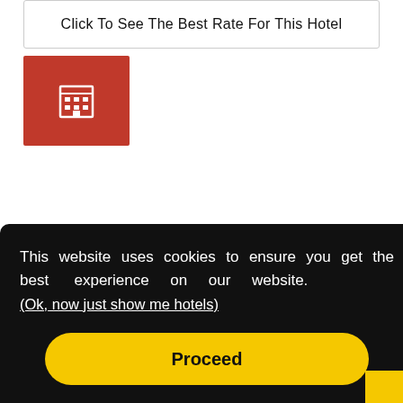Click To See The Best Rate For This Hotel
[Figure (illustration): Red square button with a white hotel/building icon (grid of windows)]
This website uses cookies to ensure you get the best experience on our website. (Ok, now just show me hotels)
Proceed